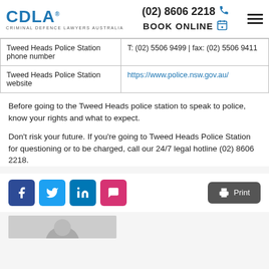CDLA Criminal Defence Lawyers Australia | (02) 8606 2218 | BOOK ONLINE
| Tweed Heads Police Station phone number | T: (02) 5506 9499 | fax: (02) 5506 9411 |
| Tweed Heads Police Station website | https://www.police.nsw.gov.au/ |
Before going to the Tweed Heads police station to speak to police, know your rights and what to expect.
Don’t risk your future. If you’re going to Tweed Heads Police Station for questioning or to be charged, call our 24/7 legal hotline (02) 8606 2218.
[Figure (other): Social share buttons: Facebook, Twitter, LinkedIn, Comment/Chat; and a Print button on the right.]
[Figure (photo): Partial image of a person at the bottom of the page.]